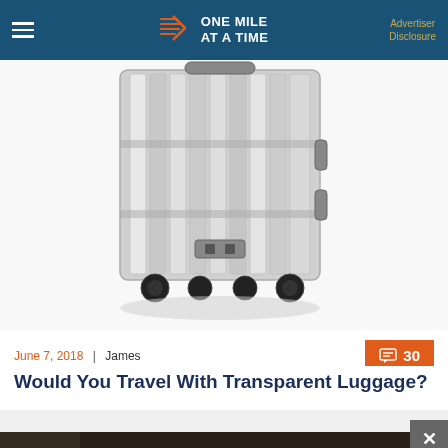ONE MILE AT A TIME | Advertiser Disclosure
[Figure (photo): Close-up black and white photo of a transparent/clear aluminum suitcase with black wheels and hardware, shot from slightly below against a white background.]
June 7, 2018 | James
30
Would You Travel With Transparent Luggage?
[Figure (photo): Dark, partially visible second image at the bottom of the page, appears to be another luggage or travel-related photo.]